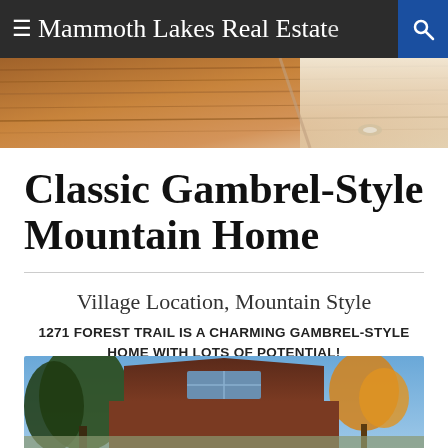≡ Mammoth Lakes Real Estate 🔍
[Figure (photo): Interior photo showing wood-paneled ceiling with warm lighting]
Classic Gambrel-Style Mountain Home
Village Location, Mountain Style
1271 FOREST TRAIL IS A CHARMING GAMBREL-STYLE HOME WITH LOTS OF POTENTIAL!
[Figure (photo): Exterior photo of gambrel-style home with dark brown siding, large windows, surrounded by trees with blue sky]